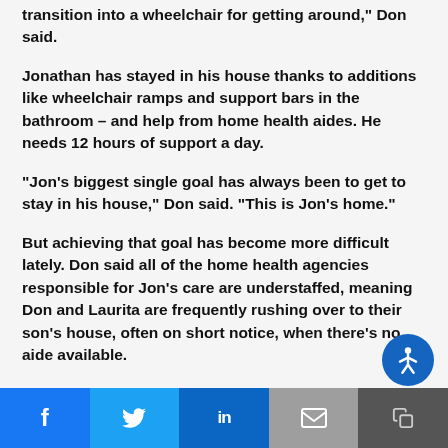transition into a wheelchair for getting around," Don said.
Jonathan has stayed in his house thanks to additions like wheelchair ramps and support bars in the bathroom – and help from home health aides. He needs 12 hours of support a day.
"Jon's biggest single goal has always been to get to stay in his house," Don said. "This is Jon's home."
But achieving that goal has become more difficult lately. Don said all of the home health agencies responsible for Jon's care are understaffed, meaning Don and Laurita are frequently rushing over to their son's house, often on short notice, when there's no aide available.
Social share bar: Facebook, Twitter, LinkedIn, Email, Copy